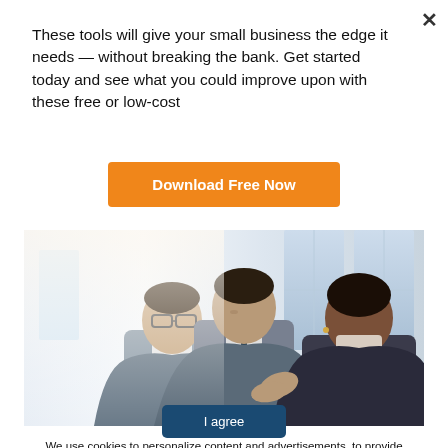×
These tools will give your small business the edge it needs — without breaking the bank. Get started today and see what you could improve upon with these free or low-cost
Download Free Now
[Figure (photo): Three business professionals — two men in suits and a woman — looking down at a tablet or document together in a bright office environment]
We use cookies to personalize content and advertisements, to provide social media functions, and to analyze our traffic. By continuing to browse this site you consent to the use of cookies.
I agree